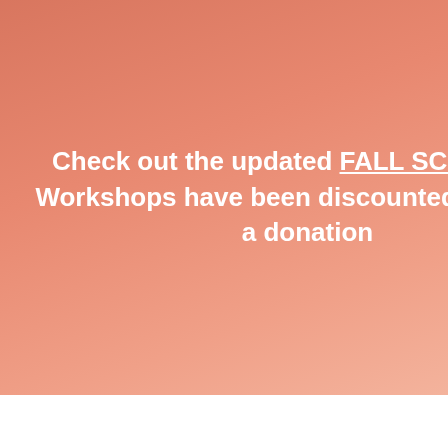Check out the updated FALL SCHEDULE! Workshops have been discounted thanks to a donation
[Figure (logo): ABE logo — teal/dark green stylized letters ABE with paint splatter effect]
Post
Sydney Davis-Campos  Jul 13, 2021 · 2 min